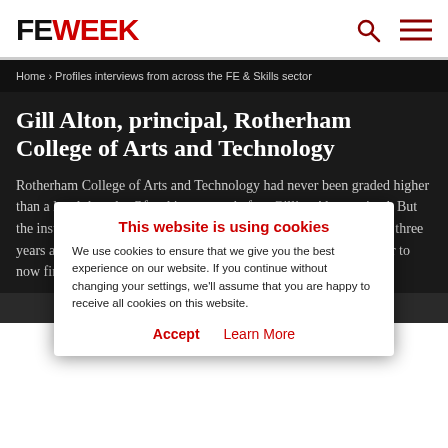FE WEEK
Home › Profiles interviews from across the FE & Skills sector
Gill Alton, principal, Rotherham College of Arts and Technology
Rotherham College of Arts and Technology had never been graded higher than a level three by Ofsted inspectors before Gillian Alton arrived. But the institution achieved its first good inspection result this summer, three years after she was appointed principal. FE Week sat down with her to now find... so that the college [...]
This website is using cookies
We use cookies to ensure that we give you the best experience on our website. If you continue without changing your settings, we'll assume that you are happy to receive all cookies on this website.
Accept  Learn More